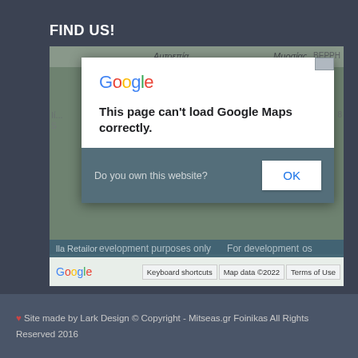FIND US!
[Figure (screenshot): Google Maps embedded map showing an error dialog: 'This page can't load Google Maps correctly.' with a prompt 'Do you own this website?' and an OK button. Map background shows partial map of an area. Bottom bar shows Google watermark, Keyboard shortcuts, Map data ©2022, Terms of Use. Overlay text reads 'For development purposes only'.]
♥ Site made by Lark Design © Copyright - Mitseas.gr Foinikas All Rights Reserved 2016